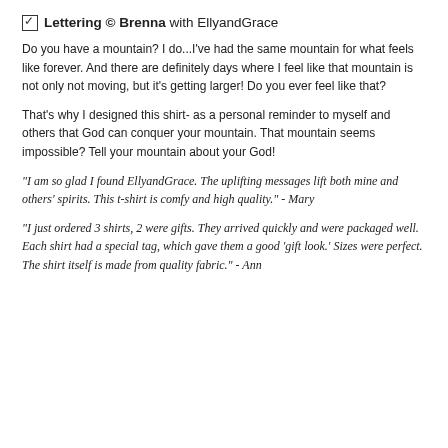Lettering © Brenna with EllyandGrace
Do you have a mountain? I do...I've had the same mountain for what feels like forever. And there are definitely days where I feel like that mountain is not only not moving, but it's getting larger! Do you ever feel like that?
That's why I designed this shirt- as a personal reminder to myself and others that God can conquer your mountain. That mountain seems impossible? Tell your mountain about your God!
"I am so glad I found EllyandGrace. The uplifting messages lift both mine and others' spirits. This t-shirt is comfy and high quality." - Mary
"I just ordered 3 shirts, 2 were gifts. They arrived quickly and were packaged well. Each shirt had a special tag, which gave them a good 'gift look.' Sizes were perfect. The shirt itself is made from quality fabric." - Ann